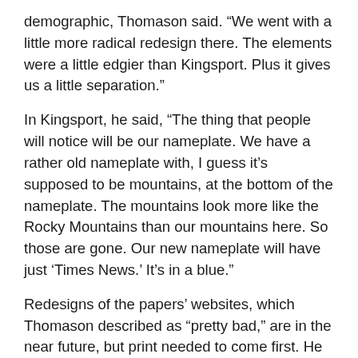demographic, Thomason said. “We went with a little more radical redesign there. The elements were a little edgier than Kingsport. Plus it gives us a little separation.”
In Kingsport, he said, “The thing that people will notice will be our nameplate. We have a rather old nameplate with, I guess it’s supposed to be mountains, at the bottom of the nameplate. The mountains look more like the Rocky Mountains than our mountains here. So those are gone. Our new nameplate will have just ‘Times News.’ It’s in a blue.”
Redesigns of the papers’ websites, which Thomason described as “pretty bad,” are in the near future, but print needed to come first. He said a couple of studies have shown millennials are moving back to print media, including books, as they get older and tire of reading on mobile devices.
“But print’s still paying the bills. That’s pretty much